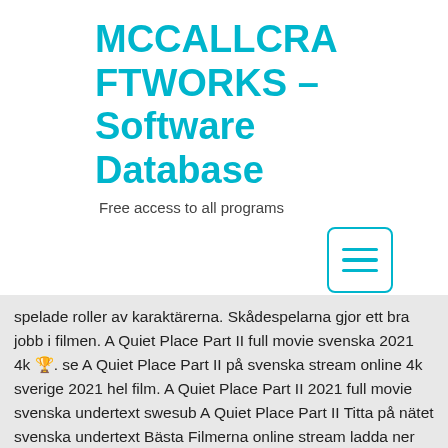MCCALLCRAFTWORKS – Software Database
Free access to all programs
[Figure (other): Menu/hamburger icon — a rounded rectangle border with three horizontal lines inside, rendered in teal/cyan color]
spelade roller av karaktärerna. Skådespelarna gjor ett bra jobb i filmen. A Quiet Place Part II full movie svenska 2021 4k 🏆. se A Quiet Place Part II på svenska stream online 4k sverige 2021 hel film. A Quiet Place Part II 2021 full movie svenska undertext swesub A Quiet Place Part II Titta på nätet svenska undertext Bästa Filmerna online stream ladda ner 2021 stream online 4k svenska